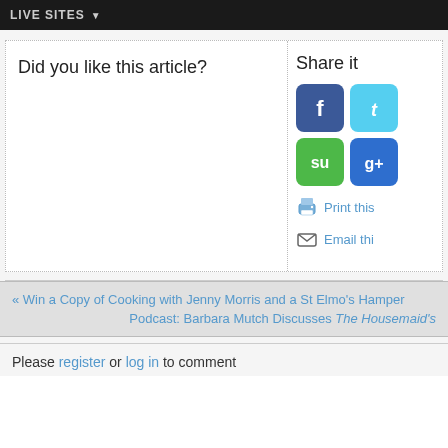LIVE SITES
Did you like this article?
Share it
[Figure (screenshot): Facebook share icon (blue rounded square with white F)]
[Figure (screenshot): Twitter share icon (teal rounded square with white bird/t)]
[Figure (screenshot): StumbleUpon share icon (green rounded square with SU letters)]
[Figure (screenshot): Google+ share icon (blue rounded square with g+ letters)]
Print this
Email thi
« Win a Copy of Cooking with Jenny Morris and a St Elmo's Hamper
Podcast: Barbara Mutch Discusses The Housemaid's
Please register or log in to comment